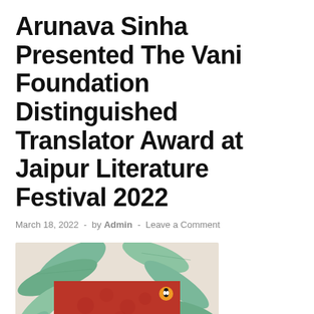Arunava Sinha Presented The Vani Foundation Distinguished Translator Award at Jaipur Literature Festival 2022
March 18, 2022  -  by Admin  -  Leave a Comment
[Figure (photo): Book cover of 'Khwab Nama' by Akhtaruzzaman Elias, published by Penguin. Red cover with botanical leaf illustration in background, italic white title text 'khwab nama' and author name 'Akhtaruzzaman Elias' in white.]